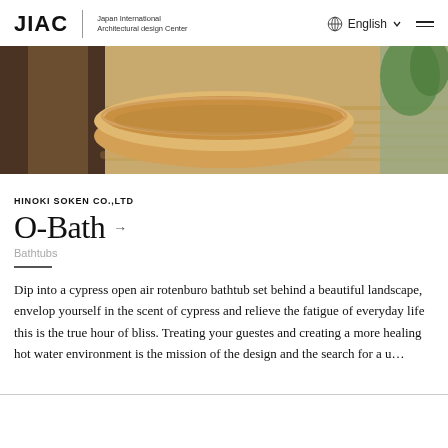JIAC | Japan International Architectural design Center   English  ☰
[Figure (photo): Hero image of a freestanding oval bathtub on a wooden deck with green foliage in the background, warm tones]
HINOKI SOKEN CO.,LTD
O-Bath →
Bathtubs
Dip into a cypress open air rotenburo bathtub set behind a beautiful landscape, envelop yourself in the scent of cypress and relieve the fatigue of everyday life this is the true hour of bliss. Treating your guestes and creating a more healing hot water environment is the mission of the design and the search for a u…